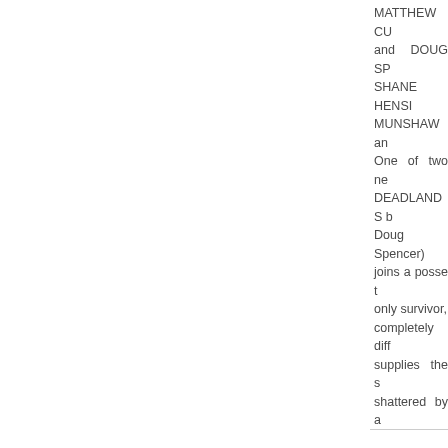MATTHEW CU and DOUG SP SHANE HENSI MUNSHAW an One of two ne DEADLANDS b Doug Spencer) joins a posse t only survivor, completely diff supplies the s shattered by a the outlaw and quickly remind provided by pe the wide-open for the DEADL Moder and Bro written by Jona not, whether yo and the magnif